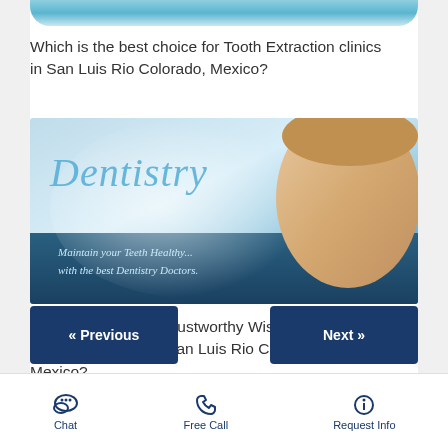[Figure (photo): Partial dental/medical banner image visible at top, showing bottom edge with blue gradient]
Which is the best choice for Tooth Extraction clinics in San Luis Rio Colorado, Mexico?
[Figure (illustration): Dentistry banner with italic cursive 'Dentistry' text in blue, tagline 'Maintain your Teeth Healthy... with the best Dentistry Doctors.' and smiling woman on right side]
Which are the most trustworthy Wisdom Tooth Extraction clinics in San Luis Rio Colorado, Mexico?
« Previous
Next »
Chat | Free Call | Request Info